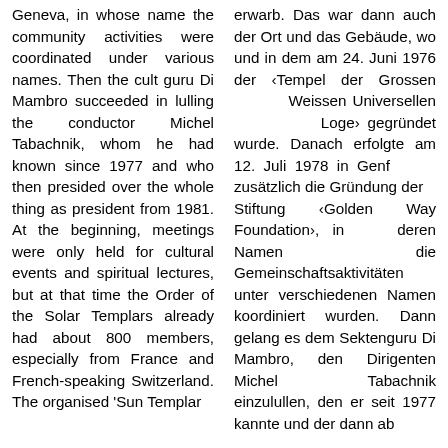Geneva, in whose name the community activities were coordinated under various names. Then the cult guru Di Mambro succeeded in lulling the conductor Michel Tabachnik, whom he had known since 1977 and who then presided over the whole thing as president from 1981. At the beginning, meetings were only held for cultural events and spiritual lectures, but at that time the Order of the Solar Templars already had about 800 members, especially from France and French-speaking Switzerland. The organised 'Sun Templar
erwarb. Das war dann auch der Ort und das Gebäude, wo und in dem am 24. Juni 1976 der ‹Tempel der Grossen Weissen Universellen Loge› gegründet wurde. Danach erfolgte am 12. Juli 1978 in Genf zusätzlich die Gründung der Stiftung ‹Golden Way Foundation›, in deren Namen die Gemeinschaftsaktivitäten unter verschiedenen Namen koordiniert wurden. Dann gelang es dem Sektenguru Di Mambro, den Dirigenten Michel Tabachnik einzulullen, den er seit 1977 kannte und der dann ab